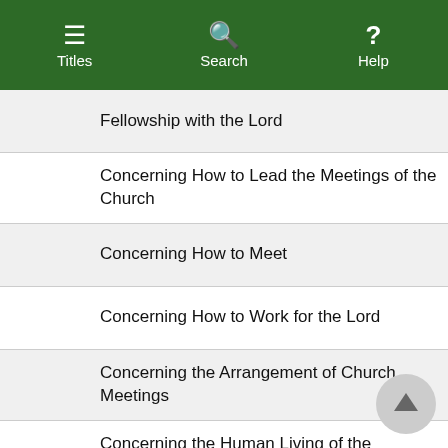Titles  Search  Help
Fellowship with the Lord
Concerning How to Lead the Meetings of the Church
Concerning How to Meet
Concerning How to Work for the Lord
Concerning the Arrangement of Church Meetings
Concerning the Human Living of the Believers
Concerning the Lord's Recovery